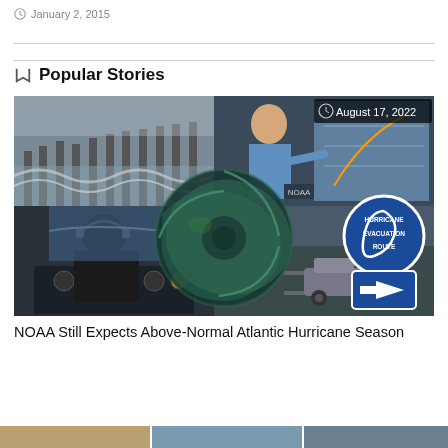January 2, 2015
Popular Stories
[Figure (photo): Composite image showing hurricane-related scenes: crashing waves at a pier, a meteorologist pointing at a hurricane track map, a satellite view of a hurricane eye, a cockpit view of a hurricane hunter aircraft, a car driving past a Hurricane Evacuation Route sign. Overlay badge reads: August 17, 2022]
NOAA Still Expects Above-Normal Atlantic Hurricane Season